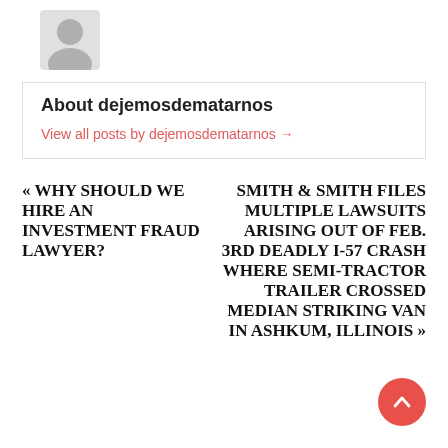[Figure (illustration): Grey silhouette avatar/profile icon of a person]
About dejemosdematarnos
View all posts by dejemosdematarnos →
« WHY SHOULD WE HIRE AN INVESTMENT FRAUD LAWYER?
SMITH & SMITH FILES MULTIPLE LAWSUITS ARISING OUT OF FEB. 3RD DEADLY I-57 CRASH WHERE SEMI-TRACTOR TRAILER CROSSED MEDIAN STRIKING VAN IN ASHKUM, ILLINOIS »